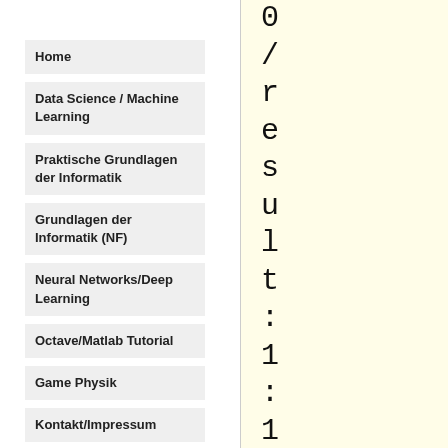Home
Data Science / Machine Learning
Praktische Grundlagen der Informatik
Grundlagen der Informatik (NF)
Neural Networks/Deep Learning
Octave/Matlab Tutorial
Game Physik
Kontakt/Impressum
0/result:1:1VfLWol